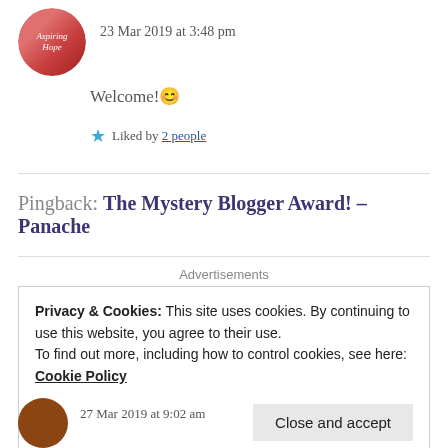[Figure (photo): Circular avatar image with pink/red background showing cursive text 'Aspiring Hope']
23 Mar 2019 at 3:48 pm
Welcome! 😊
★ Liked by 2 people
Pingback: The Mystery Blogger Award! – Panache
Advertisements
Privacy & Cookies: This site uses cookies. By continuing to use this website, you agree to their use.
To find out more, including how to control cookies, see here: Cookie Policy
Close and accept
27 Mar 2019 at 9:02 am